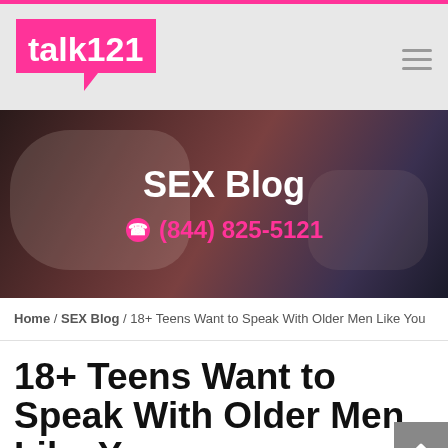[Figure (screenshot): Website screenshot of talk121 blog page showing logo, hero image with 'SEX Blog' title and phone number, breadcrumb navigation, and article title '18+ Teens Want to Speak With Older Men Like You']
talk121
SEX Blog
(844) 825-5121
Home / SEX Blog / 18+ Teens Want to Speak With Older Men Like You
18+ Teens Want to Speak With Older Men Like You